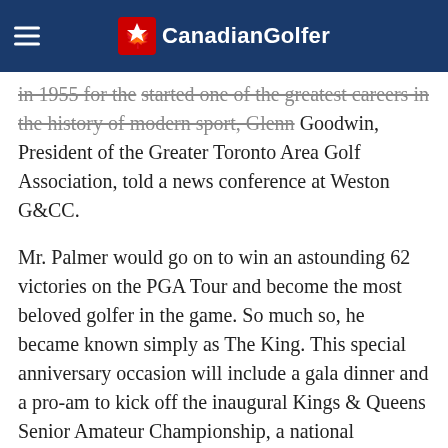CanadianGolfer
in 1955 for the [strikethrough] started one of the greatest careers in the history of modern sport, Glenn Goodwin, President of the Greater Toronto Area Golf Association, told a news conference at Weston G&CC.
Mr. Palmer would go on to win an astounding 62 victories on the PGA Tour and become the most beloved golfer in the game. So much so, he became known simply as The King. This special anniversary occasion will include a gala dinner and a pro-am to kick off the inaugural Kings & Queens Senior Amateur Championship, a national tournament for men and women. The format is individual gross medal play. Mr. Palmer is excited about returning to Weston to celebrate the anniversary of that first win. It was the kicking-off point for me, he said of his 1955 victory. It got me started on the winning trail and smoothed things out for me. The next year, I won a couple of tournaments and felt much more